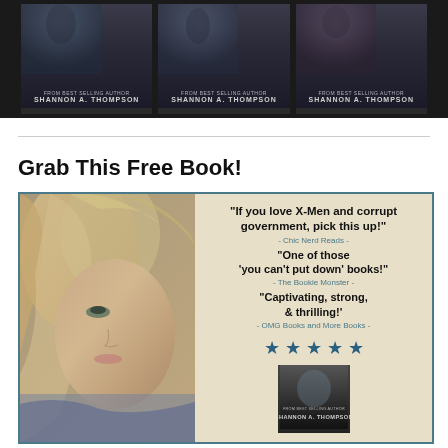[Figure (photo): Three dark book covers by Shannon A. Thompson displayed side by side on a dark background]
Grab This Free Book!
[Figure (photo): Book promotional image featuring a young blonde woman's face on the left, and text reviews on a beige background on the right. Reviews: 'If you love X-Men and corrupt government, pick this up!' - Chic Nerd Reads, 'One of those you can't put down books!' - The Bookie Monster, 'Captivating, strong, & thrilling!' - OMG Books and More Books. Five blue stars. Small book cover by Shannon A. Thompson at bottom right.]